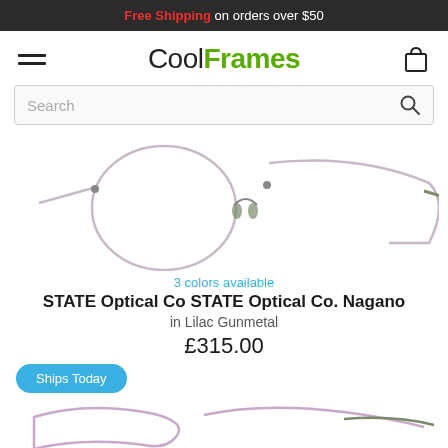Free Shipping on orders over $50
[Figure (logo): CoolFrames logo with hamburger menu and shopping cart icon]
[Figure (other): Search bar with magnifying glass icon]
[Figure (photo): STATE Optical Co Nagano eyeglasses in Lilac Gunmetal - front and side view on white background]
3 colors available
STATE Optical Co STATE Optical Co. Nagano
in Lilac Gunmetal
£315.00
Ships Today
[Figure (photo): STATE Optical Co Nagano eyeglasses in Lilac Gunmetal - partial view at bottom of page]